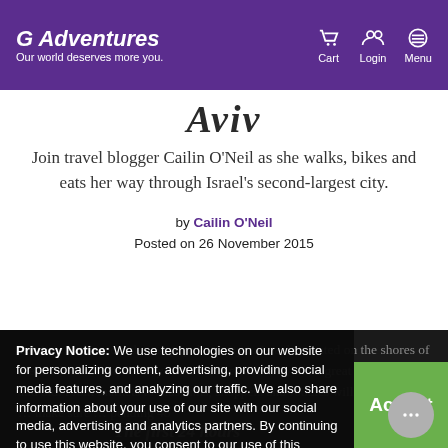G Adventures — Our world deserves more you. | Cart | Login | Menu
Aviv
Join travel blogger Cailin O'Neil as she walks, bikes and eats her way through Israel's second-largest city.
by Cailin O'Neil
Posted on 26 November 2015
Privacy Notice: We use technologies on our website for personalizing content, advertising, providing social media features, and analyzing our traffic. We also share information about your use of our site with our social media, advertising and analytics partners. By continuing to use this website, you consent to our use of this technology. You can control this through your Privacy Options.
The first 24 hours